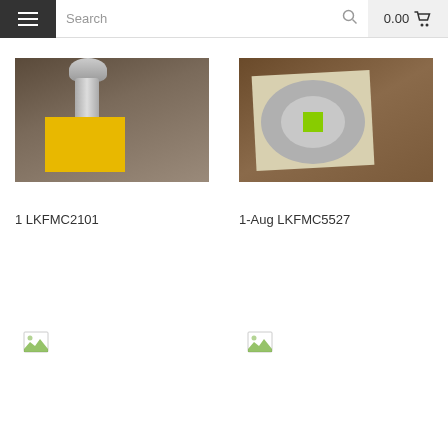Search  0.00
[Figure (photo): Product photo of a spring/valve mechanical component on a yellow box, placed on a wooden surface]
1 LKFMC2101
[Figure (photo): Product photo of a bearing ring/seal laid on printed paper on a wooden surface, with a green sticker in center]
1-Aug LKFMC5527
[Figure (other): Broken/placeholder image icon for a product]
[Figure (other): Broken/placeholder image icon for a product]